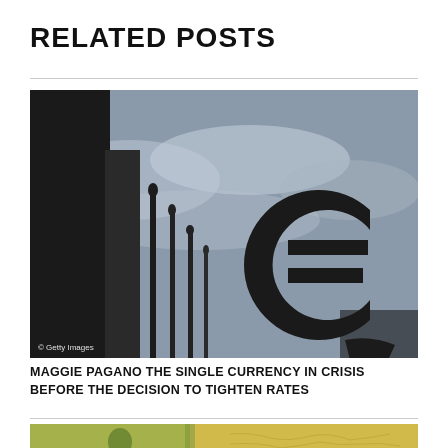RELATED POSTS
[Figure (photo): Silhouette of a large Euro currency symbol sculpture against a grey cloudy sky, with spire-like structures in the background. Getty Images watermark visible in bottom-left corner.]
MAGGIE PAGANO THE SINGLE CURRENCY IN CRISIS BEFORE THE DECISION TO TIGHTEN RATES
[Figure (photo): Partial view of Euro banknotes, cropped at bottom of page.]